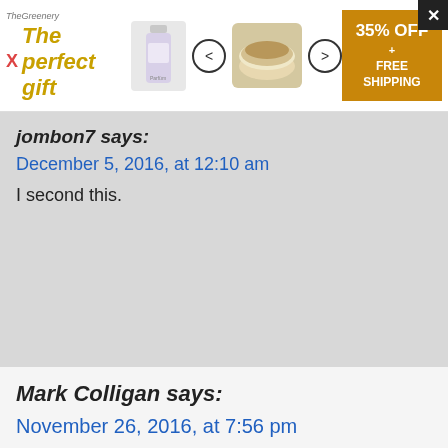[Figure (screenshot): Advertisement banner for 'The perfect gift' with perfume bottle image, food bowl image, navigation arrows, and a gold/orange box showing '35% OFF + FREE SHIPPING']
jombon7 says:
December 5, 2016, at 12:10 am
I second this.
Mark Colligan says:
November 26, 2016, at 7:56 pm
How about this dilemma: A quote within a quote within a quote:

Is A or B correct?

A.
The Administration reported in it's daily blogpost, “In awarding his student, Mr Moore said, ‘Class, I was impressed when Kari told me that her father’s dictionary states […if you want to right a quote within a quote within a quote, you should]...